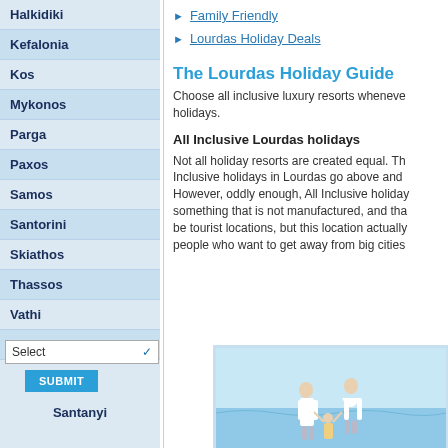Halkidiki
Kefalonia
Kos
Mykonos
Parga
Paxos
Samos
Santorini
Skiathos
Thassos
Vathi
Zante
Family Friendly
Lourdas Holiday Deals
The Lourdas Holiday Guide
Choose all inclusive luxury resorts whenever holidays.
All Inclusive Lourdas holidays
Not all holiday resorts are created equal. The Inclusive holidays in Lourdas go above and However, oddly enough, All Inclusive holiday something that is not manufactured, and tha be tourist locations, but this location actually people who want to get away from big cities
Santanyi
[Figure (photo): Couple in white clothing walking on beach with child, blue sea and sky background]